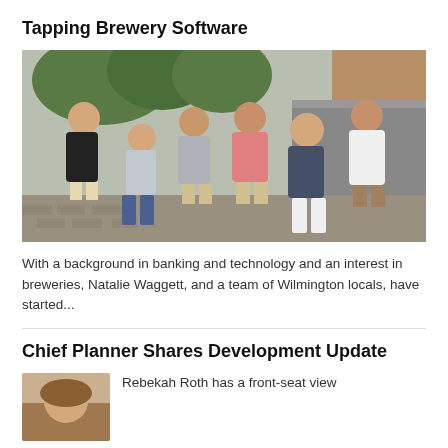Tapping Brewery Software
[Figure (photo): Group photo of six young adults standing together on a cobblestone street in an urban outdoor setting, arms crossed, smiling at the camera.]
With a background in banking and technology and an interest in breweries, Natalie Waggett, and a team of Wilmington locals, have started...
Chief Planner Shares Development Update
[Figure (photo): Headshot of a woman, partially visible at bottom of page.]
Rebekah Roth has a front-seat view